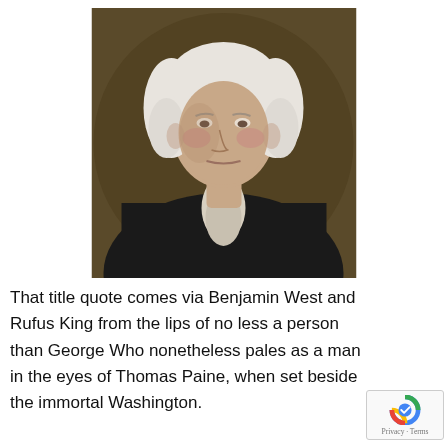[Figure (illustration): Classical oil portrait painting of George Washington, showing him from the chest up, wearing a dark coat with white cravat, white powdered wig, against a dark brownish background.]
That title quote comes via Benjamin West and Rufus King from the lips of no less a person than George [Washington] who nonetheless pales as a man in the eyes of Thomas Paine, when set beside the immortal Washington.